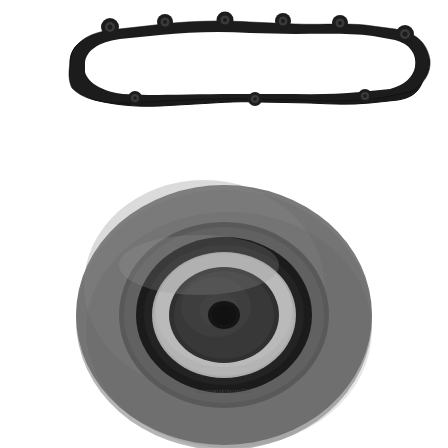[Figure (photo): Product photo on white background showing two automotive engine parts: (1) top portion shows a valve cover gasket set — a flat irregular-shaped rubber gasket with several small round rubber grommets/O-rings arranged around it; (2) bottom portion shows a timing belt tensioner pulley — a large round disc-shaped component with gray rubber outer rim, black inner ring, silver metal ring, and a central mounting hole, viewed from above.]